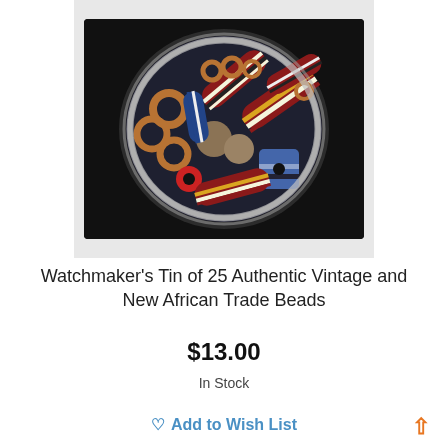[Figure (photo): A silver tin bowl viewed from above containing a collection of colorful African trade beads — striped in red, white, black, yellow patterns — along with metal rings and small round beads, photographed on a dark background.]
Watchmaker's Tin of 25 Authentic Vintage and New African Trade Beads
$13.00
In Stock
Add to Wish List